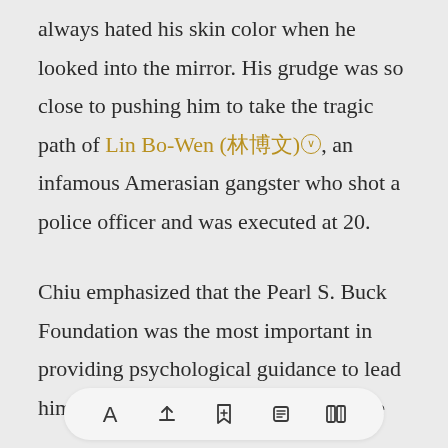always hated his skin color when he looked into the mirror. His grudge was so close to pushing him to take the tragic path of Lin Bo-Wen (林博文), an infamous Amerasian gangster who shot a police officer and was executed at 20.
Chiu emphasized that the Pearl S. Buck Foundation was the most important in providing psychological guidance to lead him back on the right track. Many Ame...